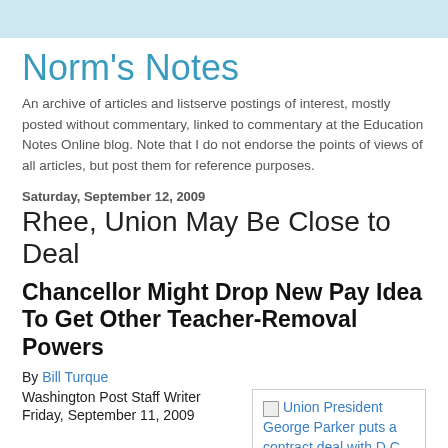Norm's Notes
An archive of articles and listserve postings of interest, mostly posted without commentary, linked to commentary at the Education Notes Online blog. Note that I do not endorse the points of views of all articles, but post them for reference purposes.
Saturday, September 12, 2009
Rhee, Union May Be Close to Deal
Chancellor Might Drop New Pay Idea To Get Other Teacher-Removal Powers
By Bill Turque
Washington Post Staff Writer
Friday, September 11, 2009
[Figure (photo): Union President George Parker puts a contract deal with D.C. Chancellor Michelle Rhee...]